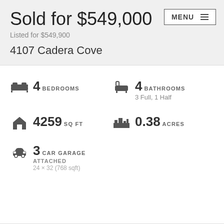Sold for $549,000
Listed for $549,900
4107 Cadera Cove
4 BEDROOMS
4 BATHROOMS — 3 Full, 1 Half
4259 SQ FT
0.38 ACRES
3 CAR GARAGE — ATTACHED — 24 × 32 (768 sqft)